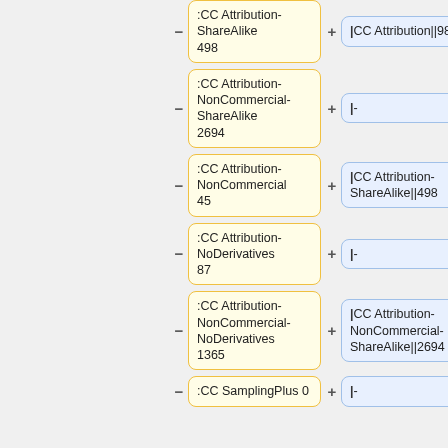[Figure (flowchart): Partial flowchart showing Creative Commons license nodes. Left column (yellow boxes): CC Attribution-ShareAlike 498, CC Attribution-NonCommercial-ShareAlike 2694, CC Attribution-NonCommercial 45, CC Attribution-NoDerivatives 87, CC Attribution-NonCommercial-NoDerivatives 1365, CC SamplingPlus 0. Right column (blue boxes): CC Attribution||98, (empty), CC Attribution-ShareAlike||498, (empty), CC Attribution-NonCommercial-ShareAlike||2694, (empty). Each row has minus and plus connectors between/beside boxes.]